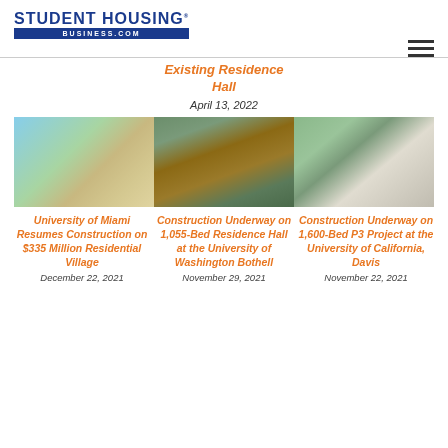STUDENT HOUSING BUSINESS.COM
Existing Residence Hall
April 13, 2022
[Figure (photo): Three architectural renderings of student housing projects side by side]
University of Miami Resumes Construction on $335 Million Residential Village
December 22, 2021
Construction Underway on 1,055-Bed Residence Hall at the University of Washington Bothell
November 29, 2021
Construction Underway on 1,600-Bed P3 Project at the University of California, Davis
November 22, 2021